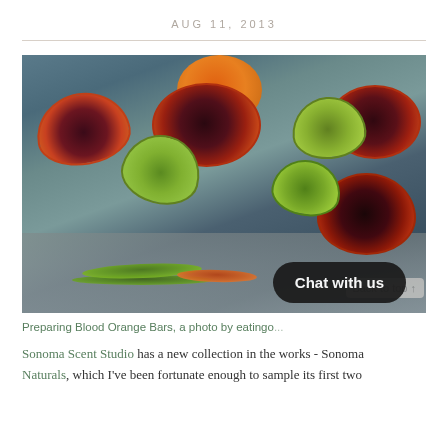AUG 11, 2013
[Figure (photo): Cut blood oranges and lime wedges on a grey cutting board with green and orange citrus zest piles in the foreground. A 'Chat with us' button overlay is visible in the lower right.]
Preparing Blood Orange Bars, a photo by eatingo...
Sonoma Scent Studio has a new collection in the works - Sonoma Naturals, which I've been fortunate enough to sample its first two